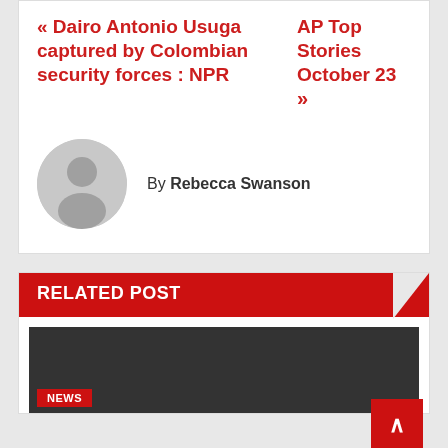« Dairo Antonio Usuga captured by Colombian security forces : NPR
AP Top Stories October 23 »
By Rebecca Swanson
[Figure (illustration): Generic user avatar circle with silhouette]
RELATED POST
[Figure (photo): Dark thumbnail image with NEWS badge and red scroll-to-top button]